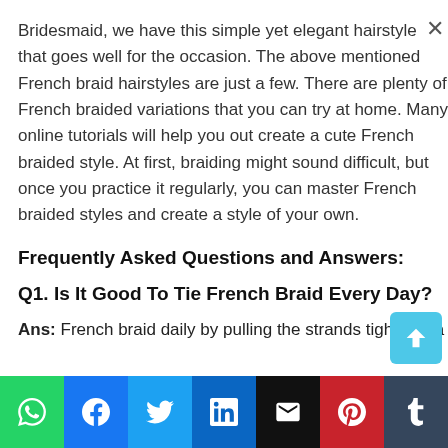Bridesmaid, we have this simple yet elegant hairstyle that goes well for the occasion. The above mentioned French braid hairstyles are just a few. There are plenty of French braided variations that you can try at home. Many online tutorials will help you out create a cute French braided style. At first, braiding might sound difficult, but once you practice it regularly, you can master French braided styles and create a style of your own.
Frequently Asked Questions and Answers:
Q1. Is It Good To Tie French Braid Every Day?
Ans: French braid daily by pulling the strands tight into a
[Figure (other): Social media share bar with icons for WhatsApp, Facebook, Twitter, LinkedIn, Email, Pinterest, Tumblr on a pink/magenta background, and a scroll-to-top button in light blue]